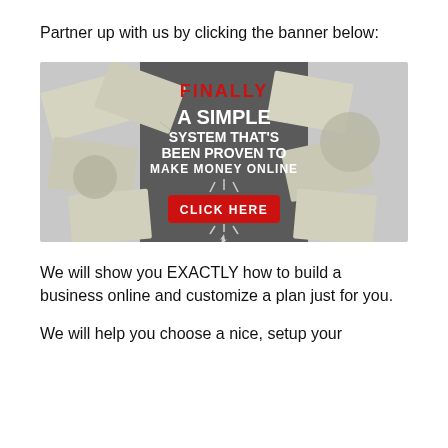Partner up with us by clicking the banner below:
[Figure (illustration): Promotional banner with US $100 bills in background and text: FINALLY A SIMPLE SYSTEM THAT'S BEEN PROVEN TO MAKE MONEY ONLINE with a red CLICK HERE button]
We will show you EXACTLY how to build a business online and customize a plan just for you.
We will help you choose a nice, setup your